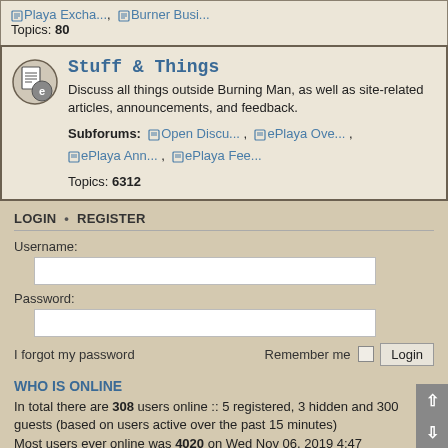Playa Excha..., Burner Busi... Topics: 80
Stuff & Things
Discuss all things outside Burning Man, as well as site-related articles, announcements, and feedback.
Subforums: Open Discu..., ePlaya Ove..., ePlaya Ann..., ePlaya Fee...
Topics: 6312
LOGIN • REGISTER
Username:
Password:
I forgot my password   Remember me   Login
WHO IS ONLINE
In total there are 308 users online :: 5 registered, 3 hidden and 300 guests (based on users active over the past 15 minutes) Most users ever online was 4020 on Wed Nov 06, 2019 4:47